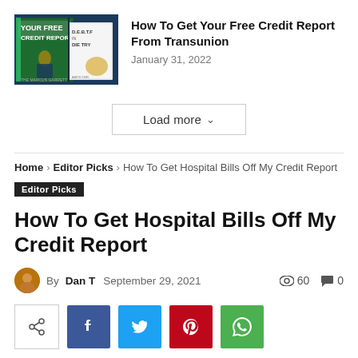[Figure (photo): Thumbnail image for article about getting free credit report from Transunion, showing book covers and a person.]
How To Get Your Free Credit Report From Transunion
January 31, 2022
Load more
Home › Editor Picks › How To Get Hospital Bills Off My Credit Report
Editor Picks
How To Get Hospital Bills Off My Credit Report
By Dan T  September 29, 2021  60  0
[Figure (infographic): Social share buttons: native share, Facebook, Twitter, Pinterest, WhatsApp]